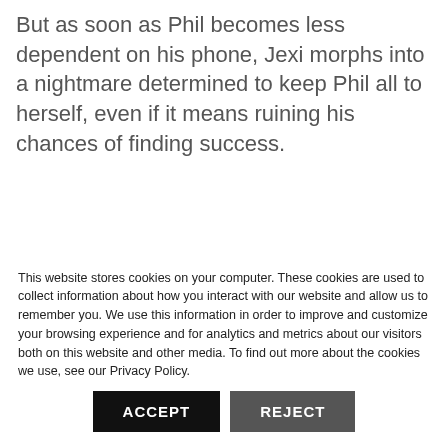But as soon as Phil becomes less dependent on his phone, Jexi morphs into a nightmare determined to keep Phil all to herself, even if it means ruining his chances of finding success.
This website stores cookies on your computer. These cookies are used to collect information about how you interact with our website and allow us to remember you. We use this information in order to improve and customize your browsing experience and for analytics and metrics about our visitors both on this website and other media. To find out more about the cookies we use, see our Privacy Policy.